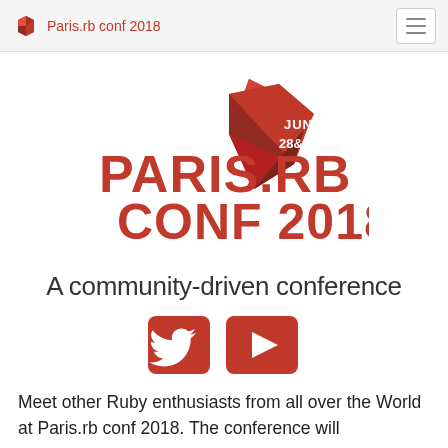Paris.rb conf 2018
[Figure (logo): Paris.rb Conf 2018 logo with 3D red polygonal gem shape and text PARIS.RB CONF 2018 with JUNE 28&29 badge]
A community-driven conference
[Figure (infographic): Twitter bird icon and YouTube play button icon, both in red rounded-square style]
Meet other Ruby enthusiasts from all over the World at Paris.rb conf 2018. The conference will